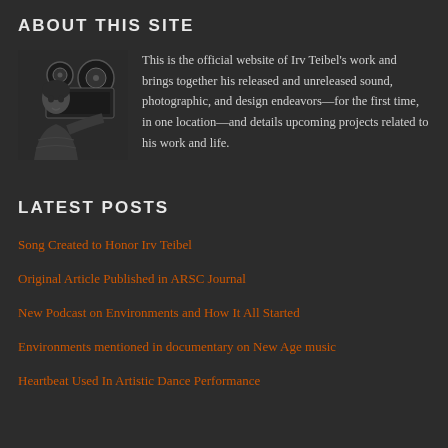ABOUT THIS SITE
[Figure (photo): Black and white photo of Irv Teibel sitting at a reel-to-reel tape recorder]
This is the official website of Irv Teibel's work and brings together his released and unreleased sound, photographic, and design endeavors—for the first time, in one location—and details upcoming projects related to his work and life.
LATEST POSTS
Song Created to Honor Irv Teibel
Original Article Published in ARSC Journal
New Podcast on Environments and How It All Started
Environments mentioned in documentary on New Age music
Heartbeat Used In Artistic Dance Performance